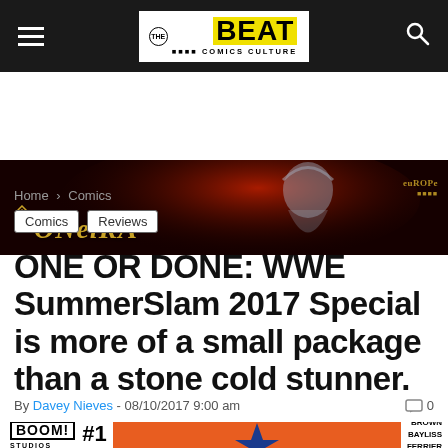THE BEAT — Comics Culture
[Figure (illustration): Oneira comic advertisement banner — dark red background with anime-style character, Oneira logo in gold on left, Europe Comics logo on right]
Home > Comics
Comics | Reviews
ONE OR DONE: WWE SummerSlam 2017 Special is more of a small package than a stone cold stunner.
By Davey Nieves - 08/10/2017 9:00 am  0
[Figure (illustration): Partial comic book cover: BOOM! Studios #1, WWE SummerSlam special comic cover with orange/blue design, creative credits: Brown, Bayliss, Ferrier]